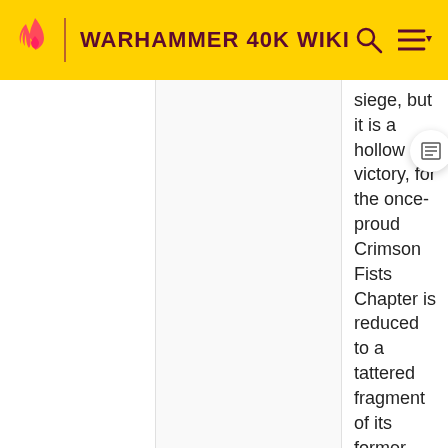WARHAMMER 40K WIKI
siege, but it is a hollow victory, for the once-proud Crimson Fists Chapter is reduced to a tattered fragment of its former glory. The empire of Charadon has also been the bane of the Ultima Segmentum for countless centuries. The Space Marines of the Ultramarines Chapter led by